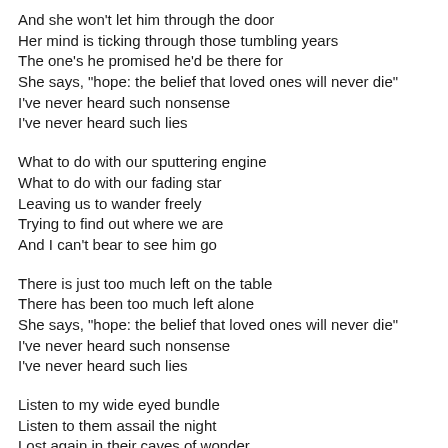And she won't let him through the door
Her mind is ticking through those tumbling years
The one's he promised he'd be there for
She says, "hope: the belief that loved ones will never die"
I've never heard such nonsense
I've never heard such lies
What to do with our sputtering engine
What to do with our fading star
Leaving us to wander freely
Trying to find out where we are
And I can't bear to see him go
There is just too much left on the table
There has been too much left alone
She says, "hope: the belief that loved ones will never die"
I've never heard such nonsense
I've never heard such lies
Listen to my wide eyed bundle
Listen to them assail the night
Lost again in their caves of wonder